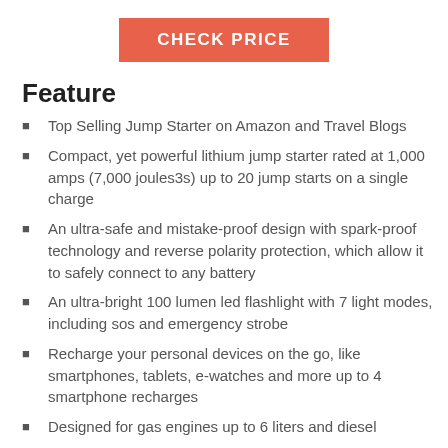[Figure (other): CHECK PRICE button — orange/coral rectangular button with white uppercase text]
Feature
Top Selling Jump Starter on Amazon and Travel Blogs
Compact, yet powerful lithium jump starter rated at 1,000 amps (7,000 joules3s) up to 20 jump starts on a single charge
An ultra-safe and mistake-proof design with spark-proof technology and reverse polarity protection, which allow it to safely connect to any battery
An ultra-bright 100 lumen led flashlight with 7 light modes, including sos and emergency strobe
Recharge your personal devices on the go, like smartphones, tablets, e-watches and more up to 4 smartphone recharges
Designed for gas engines up to 6 liters and diesel